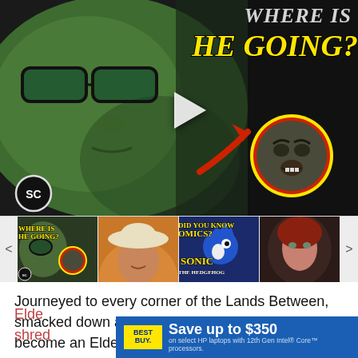[Figure (screenshot): Video thumbnail showing a green-skinned character (Hulk) with glasses on the left, text 'WHERE IS' and 'HE GOING?' in yellow Impact font on the right, a circled monster face with red arrow, and SC logo. Below is a horizontal strip of 4 related video thumbnails with nav arrows.]
Journeyed to every corner of the Lands Between, smacked down all manner of hideous bosses, and become an Elden Lord? If you're anything like us, then
[Figure (screenshot): Best Buy advertisement banner: 'Save up to $350 on select HP laptops with 12th Gen Intel Core processors.']